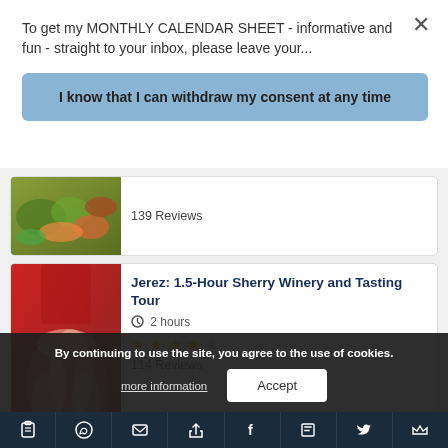To get my MONTHLY CALENDAR SHEET - informative and fun - straight to your inbox, please leave your...
I know that I can withdraw my consent at any time
[Figure (photo): Food platter with salads and meats]
139 Reviews
[Figure (photo): People clinking glasses of white wine/sherry]
Jerez: 1.5-Hour Sherry Winery and Tasting Tour
2 hours
114 Reviews
By continuing to use the site, you agree to the use of cookies.
more information
Accept
[Figure (screenshot): Bottom navigation toolbar with social media and sharing icons]